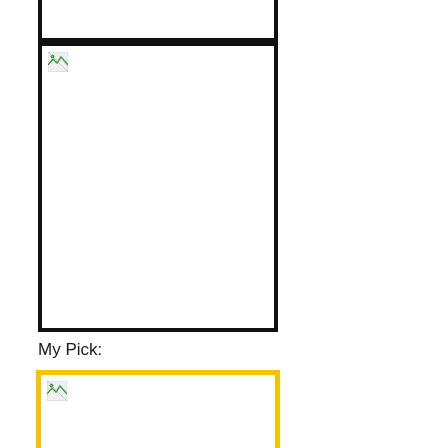[Figure (illustration): Small black-bordered card (top strip only, cropped at top of page)]
[Figure (illustration): Large black-bordered card placeholder with broken image icon in top-left]
My Pick:
[Figure (illustration): Large yellow-bordered card placeholder with broken image icon in top-left, indicating the author's pick]
Probably the best two uncommons in the format. It's close but I root for Skeletonize.
Pack 2 pick 4: